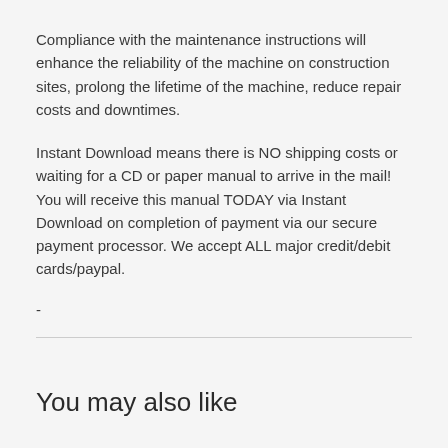Compliance with the maintenance instructions will enhance the reliability of the machine on construction sites, prolong the lifetime of the machine, reduce repair costs and downtimes.
Instant Download means there is NO shipping costs or waiting for a CD or paper manual to arrive in the mail! You will receive this manual TODAY via Instant Download on completion of payment via our secure payment processor. We accept ALL major credit/debit cards/paypal.
-
You may also like